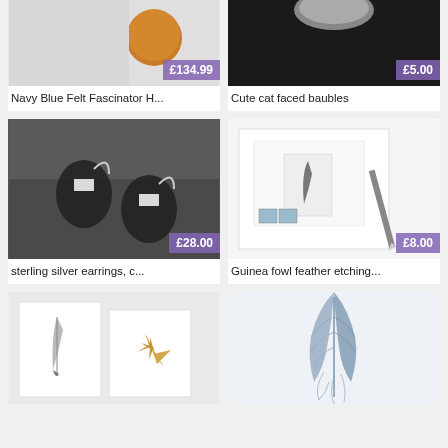[Figure (photo): Navy blue felt fascinator hat product image with price badge £134.99]
Navy Blue Felt Fascinator H...
[Figure (photo): Cute cat faced baubles on dark background with price badge £5.00]
Cute cat faced baubles
[Figure (photo): Sterling silver earrings, black and white shell-style, on dark background with price badge £28.00]
sterling silver earrings, c...
[Figure (photo): Guinea fowl feather etching on white paper with stamps and brush, price badge £8.00]
Guinea fowl feather etching...
[Figure (photo): Two art prints showing a feather and a starfish on light background]
[Figure (photo): Blue feather art print on light background, partially cropped]